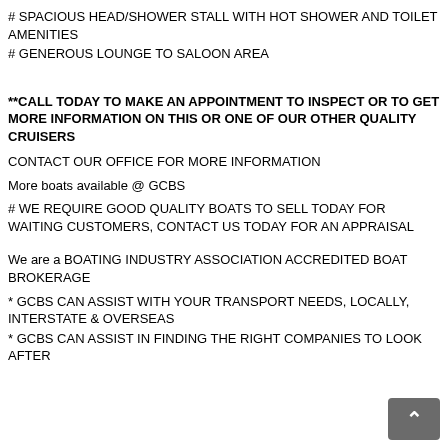# SPACIOUS HEAD/SHOWER STALL WITH HOT SHOWER AND TOILET AMENITIES
# GENEROUS LOUNGE TO SALOON AREA
**CALL TODAY TO MAKE AN APPOINTMENT TO INSPECT OR TO GET MORE INFORMATION ON THIS OR ONE OF OUR OTHER QUALITY CRUISERS
CONTACT OUR OFFICE FOR MORE INFORMATION
More boats available @ GCBS
# WE REQUIRE GOOD QUALITY BOATS TO SELL TODAY FOR WAITING CUSTOMERS, CONTACT US TODAY FOR AN APPRAISAL
We are a BOATING INDUSTRY ASSOCIATION ACCREDITED BOAT BROKERAGE
* GCBS CAN ASSIST WITH YOUR TRANSPORT NEEDS, LOCALLY, INTERSTATE & OVERSEAS
* GCBS CAN ASSIST IN FINDING THE RIGHT COMPANIES TO LOOK AFTER